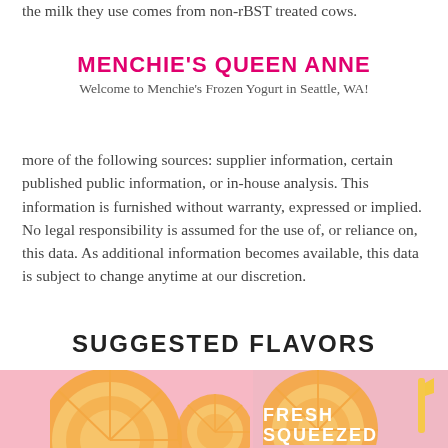the milk they use comes from non-rBST treated cows.
MENCHIE'S QUEEN ANNE
Welcome to Menchie's Frozen Yogurt in Seattle, WA!
more of the following sources: supplier information, certain published public information, or in-house analysis. This information is furnished without warranty, expressed or implied. No legal responsibility is assumed for the use of, or reliance on, this data. As additional information becomes available, this data is subject to change anytime at our discretion.
SUGGESTED FLAVORS
[Figure (photo): Pink background with orange citrus slice halves on the left panel]
[Figure (photo): Pink background with orange citrus slice and straw, with text FRESH SQUEEZED on the right panel]